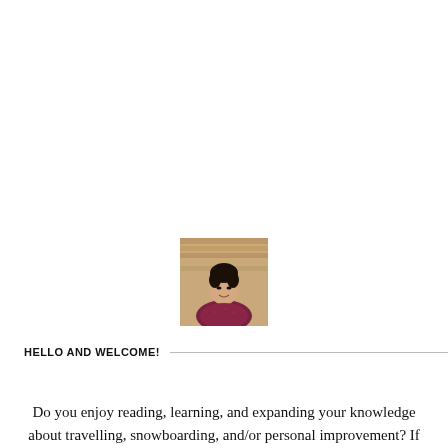[Figure (photo): Headshot photo of a young Asian man wearing a dark red/maroon patterned shirt, standing in front of a wooden background, smiling.]
HELLO AND WELCOME!
Do you enjoy reading, learning, and expanding your knowledge about travelling, snowboarding, and/or personal improvement? If yes then you've come to the